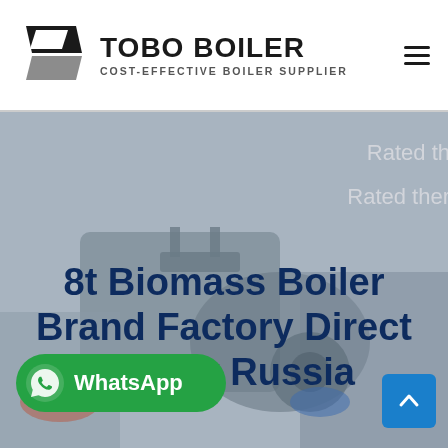[Figure (logo): Tobo Boiler logo with stylized black parallelogram icon and text 'TOBO BOILER' with tagline 'COST-EFFECTIVE BOILER SUPPLIER']
[Figure (photo): Hero section showing industrial boiler equipment in background with partial text 'Rated th' and 'Rated ther' visible on right, dark blue bold title '8t Biomass Boiler Brand Factory Direct Supply Russia', a green WhatsApp button bottom-left, and a blue back-to-top arrow button bottom-right]